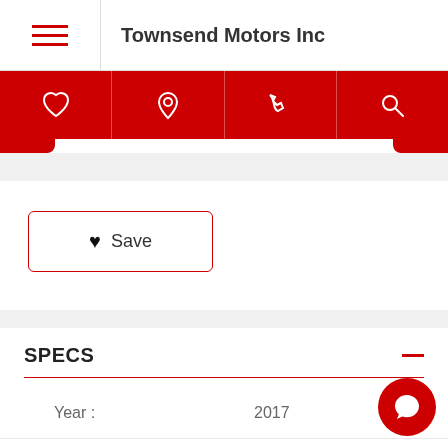Townsend Motors Inc
[Figure (screenshot): Navigation bar with heart, location pin, phone, and search icons on red background]
♥ Save
SPECS
| Field | Value |
| --- | --- |
| Year : | 2017 |
| Make : | Nissan |